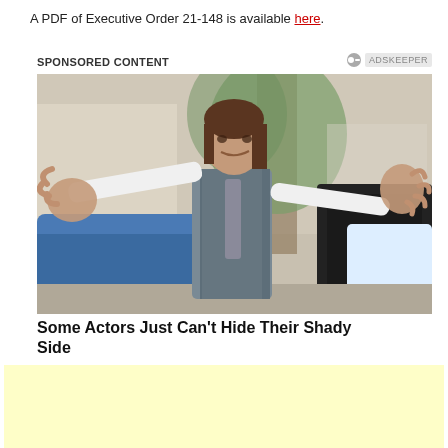A PDF of Executive Order 21-148 is available here.
SPONSORED CONTENT
[Figure (photo): A man in a grey vest and white shirt with arms outstretched in surprise near a car door, outdoors with trees in the background.]
Some Actors Just Can't Hide Their Shady Side
[Figure (other): Yellow/cream colored advertisement placeholder box]